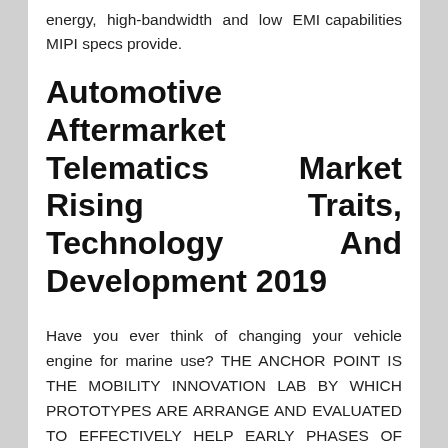energy, high-bandwidth and low EMI capabilities MIPI specs provide.
Automotive Aftermarket Telematics Market Rising Traits, Technology And Development 2019
Have you ever think of changing your vehicle engine for marine use? THE ANCHOR POINT IS THE MOBILITY INNOVATION LAB BY WHICH PROTOTYPES ARE ARRANGE AND EVALUATED TO EFFECTIVELY HELP EARLY PHASES OF PRODUCT DEVELOPMENT BY MAKING INNOVATIONS TANGIBLE. Along with the